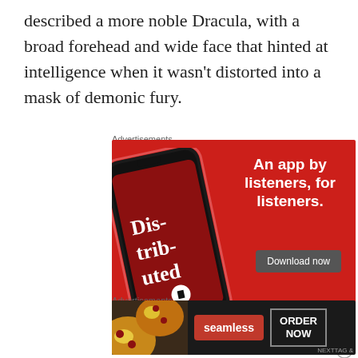described a more noble Dracula, with a broad forehead and wide face that hinted at intelligence when it wasn't distorted into a mask of demonic fury.
Advertisements
[Figure (infographic): Pocket Casts advertisement showing a phone with 'Dis-trib-uted' podcast app and text 'An app by listeners, for listeners.' with a Download now button and Pocket Casts logo on red background]
Advertisements
[Figure (infographic): Seamless food delivery advertisement showing pizza image, seamless logo button, and ORDER NOW box on dark background]